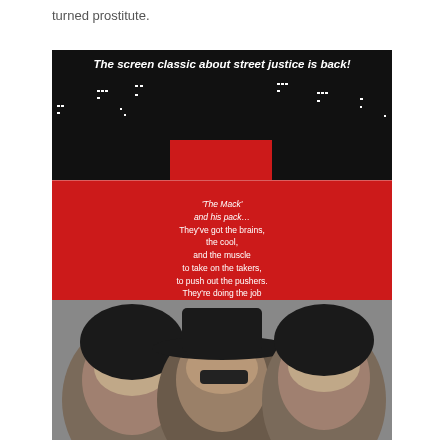turned prostitute.
[Figure (illustration): Movie poster for 'The Mack' featuring red background with black city skyline silhouette at top, white text tagline 'The screen classic about street justice is back!', descriptive text about the Mack and his pack, cast names MAX JULIEN, RICHARD PRYOR, ROGER MOSLEY, and black-and-white photos of three men's faces at bottom.]